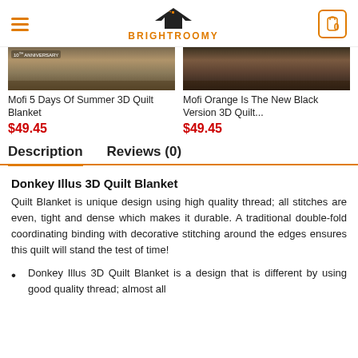BRIGHTROOMY
[Figure (photo): Product thumbnail - Mofi 5 Days Of Summer 3D Quilt Blanket]
Mofi 5 Days Of Summer 3D Quilt Blanket
$49.45
[Figure (photo): Product thumbnail - Mofi Orange Is The New Black Version 3D Quilt]
Mofi Orange Is The New Black Version 3D Quilt...
$49.45
Description
Reviews (0)
Donkey Illus 3D Quilt Blanket
Quilt Blanket is unique design using high quality thread; all stitches are even, tight and dense which makes it durable. A traditional double-fold coordinating binding with decorative stitching around the edges ensures this quilt will stand the test of time!
Donkey Illus 3D Quilt Blanket is a design that is different by using good quality thread; almost all